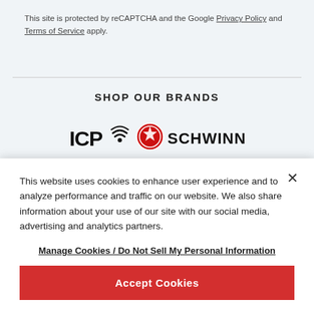This site is protected by reCAPTCHA and the Google Privacy Policy and Terms of Service apply.
SHOP OUR BRANDS
[Figure (logo): ICP and Schwinn brand logos]
This website uses cookies to enhance user experience and to analyze performance and traffic on our website. We also share information about your use of our site with our social media, advertising and analytics partners.
Manage Cookies / Do Not Sell My Personal Information
Accept Cookies